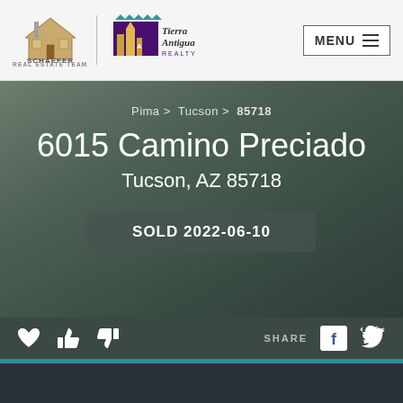[Figure (logo): Schaefer Real Estate Team logo with house illustration]
[Figure (logo): Tierra Antigua Realty logo]
MENU
Pima > Tucson > 85718
6015 Camino Preciado
Tucson, AZ 85718
SOLD 2022-06-10
[Figure (other): Heart icon (favorite)]
[Figure (other): Thumbs up icon]
[Figure (other): Thumbs down icon]
SHARE
[Figure (logo): Facebook icon]
[Figure (logo): Twitter icon]